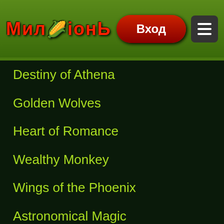[Figure (logo): Миллионь casino logo with red text on green header background]
Destiny of Athena
Golden Wolves
Heart of Romance
Wealthy Monkey
Wings of the Phoenix
Astronomical Magic
Chilli Chilli Fire
Pride of Egypt
Rawhide
Solstice Celebration